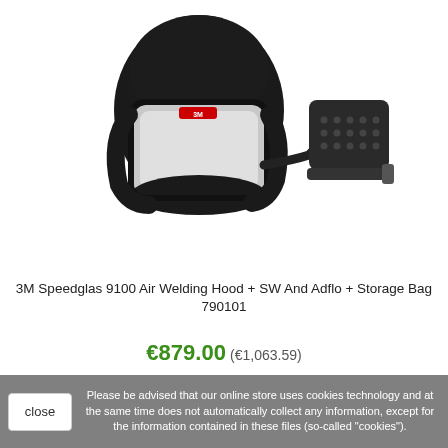[Figure (photo): 3M Speedglas 9100 Air Welding Hood with SW and Adflo unit, shown as a product image on white background. The welding helmet is black with a white/silver visor, connected to a black Adflo respirator unit via a hose.]
3M Speedglas 9100 Air Welding Hood + SW And Adflo + Storage Bag 790101
€879.00 (€1,063.59)
Please be advised that our online store uses cookies technology and at the same time does not automatically collect any information, except for the information contained in these files (so-called "cookies").